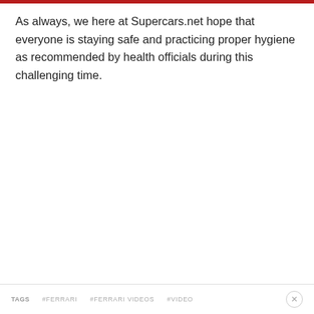As always, we here at Supercars.net hope that everyone is staying safe and practicing proper hygiene as recommended by health officials during this challenging time.
TAGS  #FERRARI  #FERRARI VIDEOS  #VIDEO